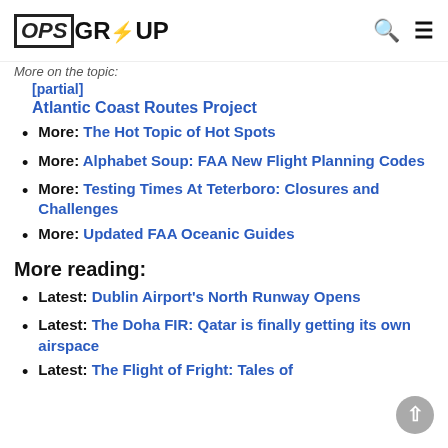OPS GROUP
More: [partial link] Atlantic Coast Routes Project
More: The Hot Topic of Hot Spots
More: Alphabet Soup: FAA New Flight Planning Codes
More: Testing Times At Teterboro: Closures and Challenges
More: Updated FAA Oceanic Guides
More reading:
Latest: Dublin Airport's North Runway Opens
Latest: The Doha FIR: Qatar is finally getting its own airspace
Latest: The Flight of Fright: Tales of